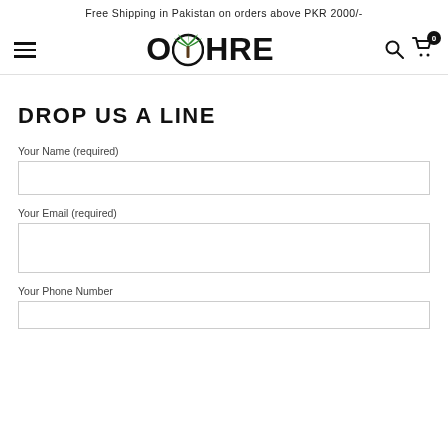Free Shipping in Pakistan on orders above PKR 2000/-
[Figure (logo): OCHRE brand logo with palm tree icon replacing the C]
DROP US A LINE
Your Name (required)
Your Email (required)
Your Phone Number